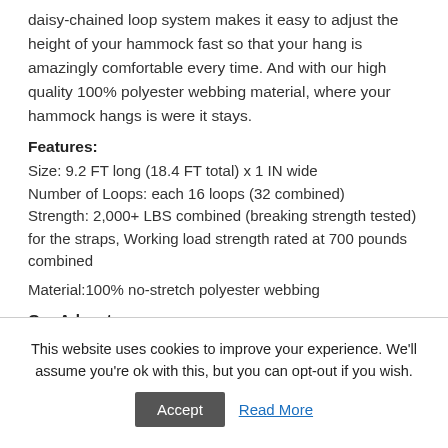daisy-chained loop system makes it easy to adjust the height of your hammock fast so that your hang is amazingly comfortable every time. And with our high quality 100% polyester webbing material, where your hammock hangs is were it stays.
Features:
Size: 9.2 FT long (18.4 FT total) x 1 IN wide
Number of Loops: each 16 loops (32 combined)
Strength: 2,000+ LBS combined (breaking strength tested) for the straps, Working load strength rated at 700 pounds combined
Material:100% no-stretch polyester webbing
Our Advantage
Different design of the carabiners of Aviation aluminum
This website uses cookies to improve your experience. We'll assume you're ok with this, but you can opt-out if you wish.